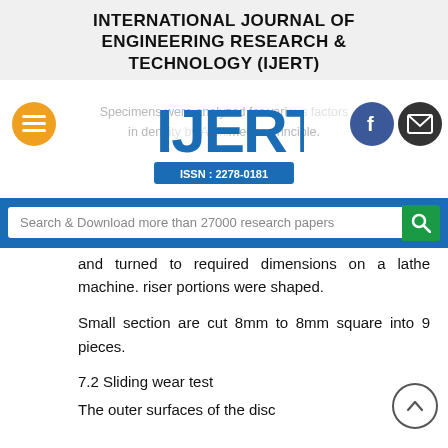INTERNATIONAL JOURNAL OF ENGINEERING RESEARCH & TECHNOLOGY (IJERT)
[Figure (logo): IJERT logo with ISSN: 2278-0181, with orange hamburger menu button, Facebook button, and email button. Watermark text: 'Specimens were analyzed for various factors in density by Archimedes principle.']
[Figure (screenshot): Search bar: 'Search & Download more than 27000 research papers' with green search button]
and turned to required dimensions on a lathe machine. riser portions were shaped.
Small section are cut 8mm to 8mm square into 9 pieces.
7.2 Sliding wear test
The outer surfaces of the disc